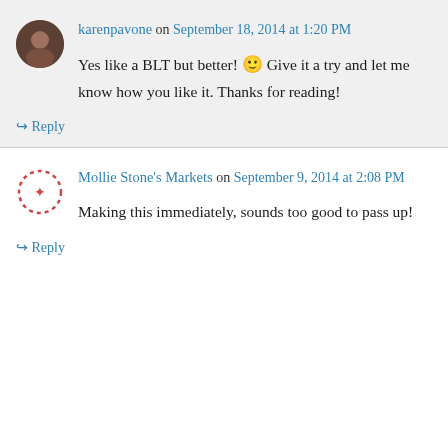karenpavone on September 18, 2014 at 1:20 PM
Yes like a BLT but better! 🙂 Give it a try and let me know how you like it. Thanks for reading!
↳ Reply
Mollie Stone's Markets on September 9, 2014 at 2:08 PM
Making this immediately, sounds too good to pass up!
↳ Reply